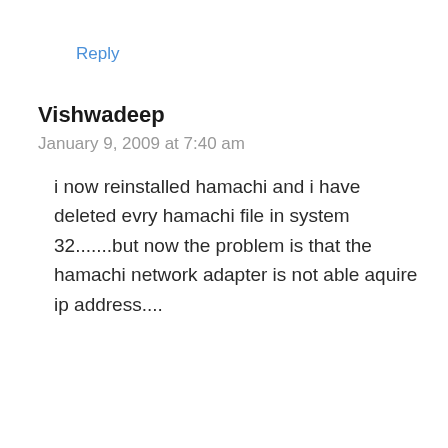Reply
Vishwadeep
January 9, 2009 at 7:40 am
i now reinstalled hamachi and i have deleted evry hamachi file in system 32.......but now the problem is that the hamachi network adapter is not able aquire ip address....